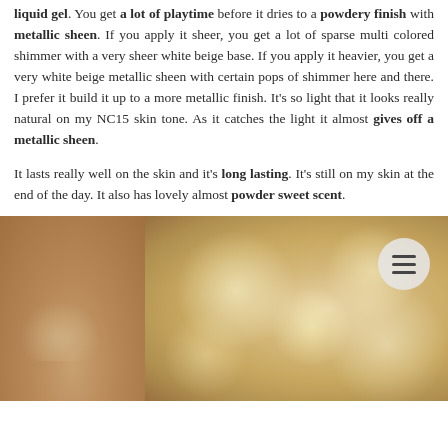liquid gel. You get a lot of playtime before it dries to a powdery finish with metallic sheen. If you apply it sheer, you get a lot of sparse multi colored shimmer with a very sheer white beige base. If you apply it heavier, you get a very white beige metallic sheen with certain pops of shimmer here and there. I prefer it build it up to a more metallic finish. It's so light that it looks really natural on my NC15 skin tone. As it catches the light it almost gives off a metallic sheen.
It lasts really well on the skin and it's long lasting. It's still on my skin at the end of the day. It also has lovely almost powder sweet scent.
[Figure (photo): Two side-by-side photos showing a cosmetic product swatch on skin. Left image shows a subtle shimmery swatch on skin. Right image shows a close-up of glittery/metallic shimmer texture with a menu button overlay in top right corner.]